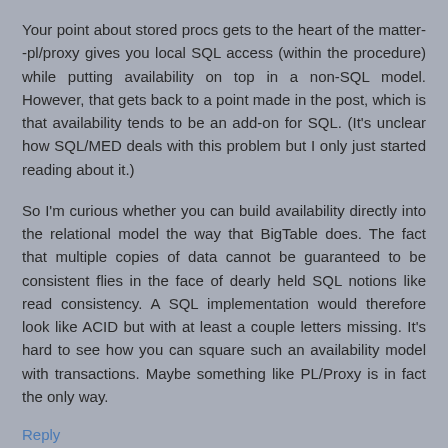Your point about stored procs gets to the heart of the matter--pl/proxy gives you local SQL access (within the procedure) while putting availability on top in a non-SQL model. However, that gets back to a point made in the post, which is that availability tends to be an add-on for SQL. (It's unclear how SQL/MED deals with this problem but I only just started reading about it.)
So I'm curious whether you can build availability directly into the relational model the way that BigTable does. The fact that multiple copies of data cannot be guaranteed to be consistent flies in the face of dearly held SQL notions like read consistency. A SQL implementation would therefore look like ACID but with at least a couple letters missing. It's hard to see how you can square such an availability model with transactions. Maybe something like PL/Proxy is in fact the only way.
Reply
Marius April 21, 2009 at 7:46 AM